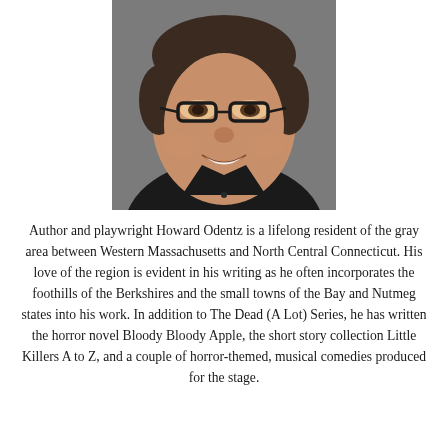[Figure (photo): Headshot of author Howard Odentz — a middle-aged man with glasses, short dark hair, wearing a black shirt, smiling, with a gray background.]
Author and playwright Howard Odentz is a lifelong resident of the gray area between Western Massachusetts and North Central Connecticut. His love of the region is evident in his writing as he often incorporates the foothills of the Berkshires and the small towns of the Bay and Nutmeg states into his work. In addition to The Dead (A Lot) Series, he has written the horror novel Bloody Bloody Apple, the short story collection Little Killers A to Z, and a couple of horror-themed, musical comedies produced for the stage.